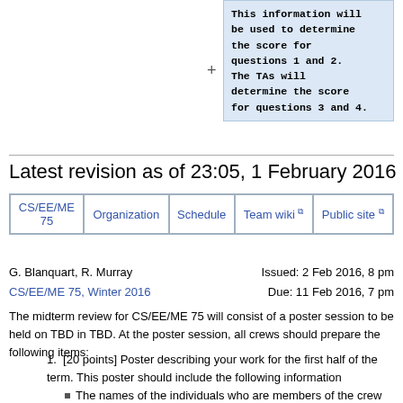This information will be used to determine the score for questions 1 and 2. The TAs will determine the score for questions 3 and 4.
Latest revision as of 23:05, 1 February 2016
| CS/EE/ME 75 | Organization | Schedule | Team wiki | Public site |
| --- | --- | --- | --- | --- |
G. Blanquart, R. Murray
CS/EE/ME 75, Winter 2016
Issued: 2 Feb 2016, 8 pm
Due: 11 Feb 2016, 7 pm
The midterm review for CS/EE/ME 75 will consist of a poster session to be held on TBD in TBD. At the poster session, all crews should prepare the following items:
[20 points] Poster describing your work for the first half of the term. This poster should include the following information
The names of the individuals who are members of the crew